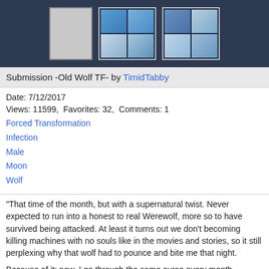[Figure (illustration): Dark blue header bar with three thumbnail images: a gray placeholder box, and two 2x2 photo grids showing animated wolf/creature images]
Submission -Old Wolf TF- by TimidTabby
Date: 7/12/2017
Views: 11599,  Favorites: 32,  Comments: 1
Forced Transformation
Infection
Male
Moon
Wolf
"That time of the month, but with a supernatural twist. Never expected to run into a honest to real Werewolf, more so to have survived being attacked. At least it turns out we don't becoming killing machines with no souls like in the movies and stories, so it still perplexing why that wolf had to pounce and bite me that night.

Because of it; now, I go through the same curse every month.

I think I'm becoming more accustomed to it than I ever imagined, stripping down to my flesh even before making it past the woods. The sun hadn't set yet and I was already hyper sensitive to my surroundings, hunger encroaching upon my rational thoughts chasing a Squirrel of all things into a open valley